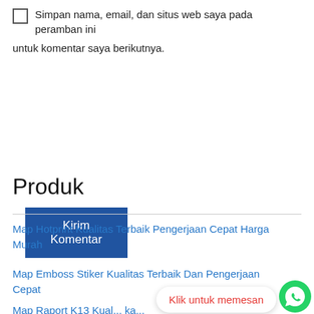Simpan nama, email, dan situs web saya pada peramban ini untuk komentar saya berikutnya.
Kirim Komentar
Produk
Map Hotprint Kualitas Terbaik Pengerjaan Cepat Harga Murah
Map Emboss Stiker Kualitas Terbaik Dan Pengerjaan Cepat
Map Raport K13 Kuali... ka... Cepat
Klik untuk memesan